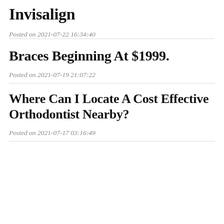Invisalign
Posted on 2021-07-22 16:34:40
Braces Beginning At $1999.
Posted on 2021-07-19 21:07:22
Where Can I Locate A Cost Effective Orthodontist Nearby?
Posted on 2021-07-17 03:16:49